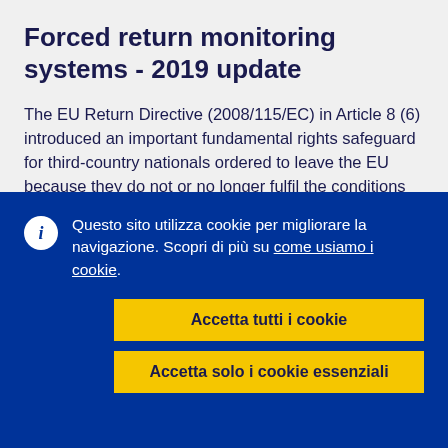Forced return monitoring systems - 2019 update
The EU Return Directive (2008/115/EC) in Article 8 (6) introduced an important fundamental rights safeguard for third-country nationals ordered to leave the EU because they do not or no longer fulfil the conditions for entry and/or stay. According to the directive, Member States must provide for an effective forced-return monitoring
Questo sito utilizza cookie per migliorare la navigazione. Scopri di più su come usiamo i cookie.
Accetta tutti i cookie
Accetta solo i cookie essenziali